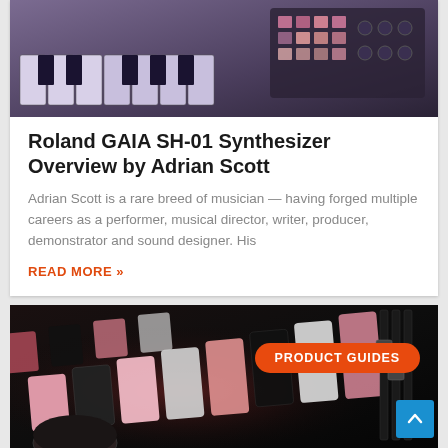[Figure (photo): Close-up photo of a Roland synthesizer keyboard with purple/lavender keys and mixing equipment visible in background]
Roland GAIA SH-01 Synthesizer Overview by Adrian Scott
Adrian Scott is a rare breed of musician — having forged multiple careers as a performer, musical director, writer, producer, demonstrator and sound designer. His
READ MORE »
[Figure (photo): Dark close-up photo of a Roland synthesizer/drum machine with pink and white keys illuminated, with 'PRODUCT GUIDES' badge overlay]
PRODUCT GUIDES